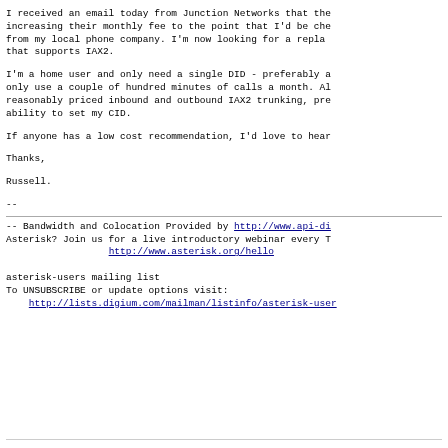I received an email today from Junction Networks that the increasing their monthly fee to the point that I'd be che from my local phone company. I'm now looking for a repla that supports IAX2.
I'm a home user and only need a single DID - preferably only use a couple of hundred minutes of calls a month. A reasonably priced inbound and outbound IAX2 trunking, pr ability to set my CID.
If anyone has a low cost recommendation, I'd love to hea
Thanks,
Russell.
--
-- Bandwidth and Colocation Provided by http://www.api-d Asterisk? Join us for a live introductory webinar every http://www.asterisk.org/hello

asterisk-users mailing list
To UNSUBSCRIBE or update options visit:
    http://lists.digium.com/mailman/listinfo/asterisk-user